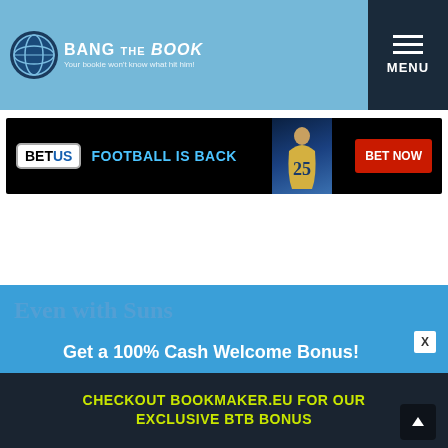Bang The Book — Your bookie won't know what hit him!
[Figure (screenshot): BetUS advertisement banner — FOOTBALL IS BACK — BET NOW]
NBA
NBA Playoff Betting Picks – Clippers Have a Chance to Get Even with Suns
Get a 100% Cash Welcome Bonus!
CHECKOUT BOOKMAKER.EU FOR OUR EXCLUSIVE BTB BONUS